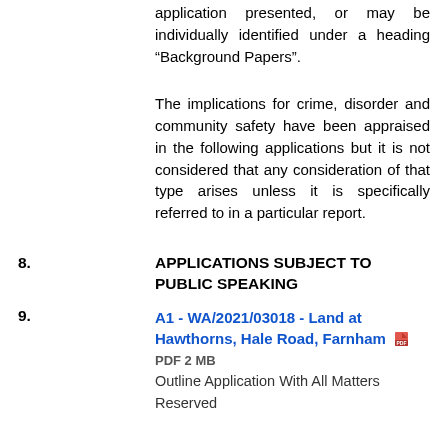application presented, or may be individually identified under a heading “Background Papers”.
The implications for crime, disorder and community safety have been appraised in the following applications but it is not considered that any consideration of that type arises unless it is specifically referred to in a particular report.
8.   APPLICATIONS SUBJECT TO PUBLIC SPEAKING
9.   A1 - WA/2021/03018 - Land at Hawthorns, Hale Road, Farnham  PDF 2 MB
Outline Application With All Matters Reserved